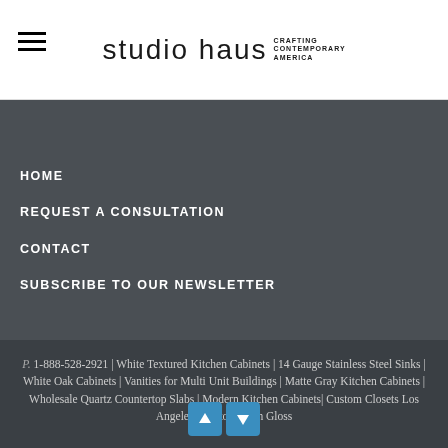[Figure (logo): Studio Haus logo with hamburger menu icon on the left. The logo reads 'studio haus' in large light-weight font with 'CRAFTING CONTEMPORARY AMERICA' in small text to the right.]
HOME
REQUEST A CONSULTATION
CONTACT
SUBSCRIBE TO OUR NEWSLETTER
P. 1-888-528-2921 | White Textured Kitchen Cabinets | 14 Gauge Stainless Steel Sinks | White Oak Cabinets | Vanities for Multi Unit Buildings | Matte Gray Kitchen Cabinets | Wholesale Quartz Countertop Slabs | Modern Kitchen Cabinets| Custom Closets Los Angeles | Custom High Gloss